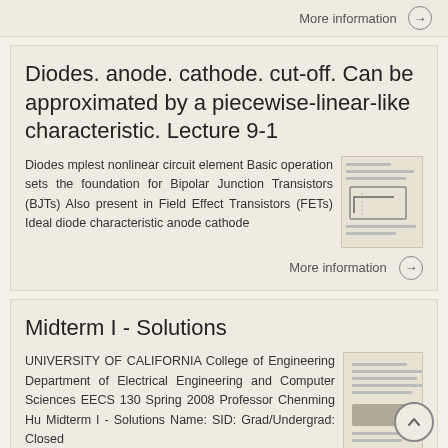More information →
Diodes. anode. cathode. cut-off. Can be approximated by a piecewise-linear-like characteristic. Lecture 9-1
Diodes mplest nonlinear circuit element Basic operation sets the foundation for Bipolar Junction Transistors (BJTs) Also present in Field Effect Transistors (FETs) Ideal diode characteristic anode cathode
[Figure (schematic): Thumbnail of a circuit diagram showing diode characteristic curve]
More information →
Midterm I - Solutions
UNIVERSITY OF CALIFORNIA College of Engineering Department of Electrical Engineering and Computer Sciences EECS 130 Spring 2008 Professor Chenming Hu Midterm I - Solutions Name: SID: Grad/Undergrad: Closed
[Figure (screenshot): Thumbnail of midterm solutions document with text lines and a shaded block]